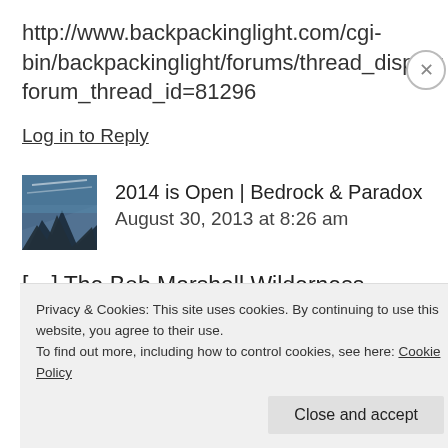http://www.backpackinglight.com/cgi-bin/backpackinglight/forums/thread_display.html?forum_thread_id=81296
Log in to Reply
2014 is Open | Bedrock & Paradox
August 30, 2013 at 8:26 am
[…] The Bob Marshall Wilderness Open […]
Privacy & Cookies: This site uses cookies. By continuing to use this website, you agree to their use.
To find out more, including how to control cookies, see here: Cookie Policy
Close and accept